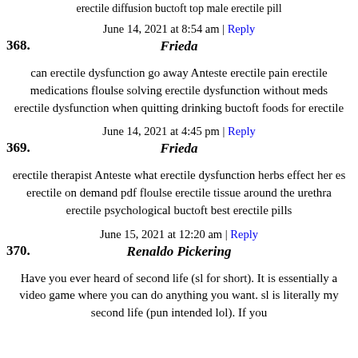erectile diffusion buctoft top male erectile pill
June 14, 2021 at 8:54 am | Reply
368. Frieda
can erectile dysfunction go away Anteste erectile pain erectile medications floulse solving erectile dysfunction without meds erectile dysfunction when quitting drinking buctoft foods for erectile
June 14, 2021 at 4:45 pm | Reply
369. Frieda
erectile therapist Anteste what erectile dysfunction herbs effect her es erectile on demand pdf floulse erectile tissue around the urethra erectile psychological buctoft best erectile pills
June 15, 2021 at 12:20 am | Reply
370. Renaldo Pickering
Have you ever heard of second life (sl for short). It is essentially a video game where you can do anything you want. sl is literally my second life (pun intended lol). If you